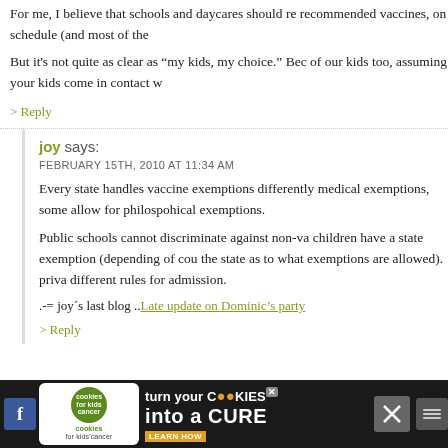For me, I believe that schools and daycares should re recommended vaccines, on schedule (and most of the
But it's not quite as clear as “my kids, my choice.” Bec of our kids too, assuming your kids come in contact w
> Reply
joy says:
FEBRUARY 15TH, 2010 AT 11:34 AM
Every state handles vaccine exemptions differently medical exemptions, some allow for philospohical exemptions.
Public schools cannot discriminate against non-va children have a state exemption (depending of cou the state as to what exemptions are allowed). priva different rules for admission.
.-= joy´s last blog ..Late update on Dominic’s party
> Reply
[Figure (infographic): Advertisement banner: 'cookies for kids cancer - turn your COOKIES into a CURE LEARN HOW' with close and social media buttons]